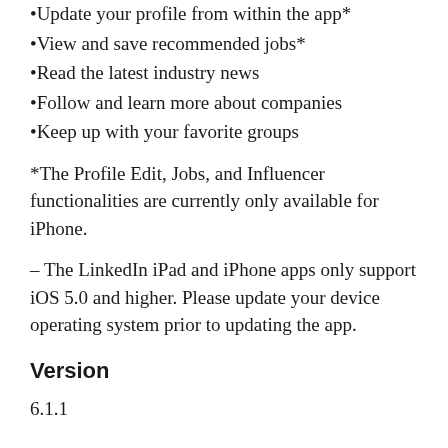•Update your profile from within the app*
•View and save recommended jobs*
•Read the latest industry news
•Follow and learn more about companies
•Keep up with your favorite groups
*The Profile Edit, Jobs, and Influencer functionalities are currently only available for iPhone.
– The LinkedIn iPad and iPhone apps only support iOS 5.0 and higher. Please update your device operating system prior to updating the app.
Version
6.1.1